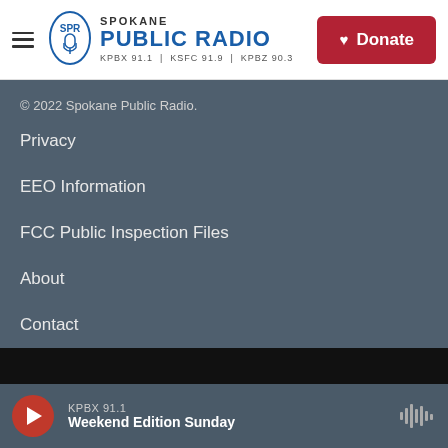Spokane Public Radio — KPBX 91.1 | KSFC 91.9 | KPBZ 90.3 — Donate
© 2022 Spokane Public Radio.
Privacy
EEO Information
FCC Public Inspection Files
About
Contact
KPBX 91.1 — Weekend Edition Sunday